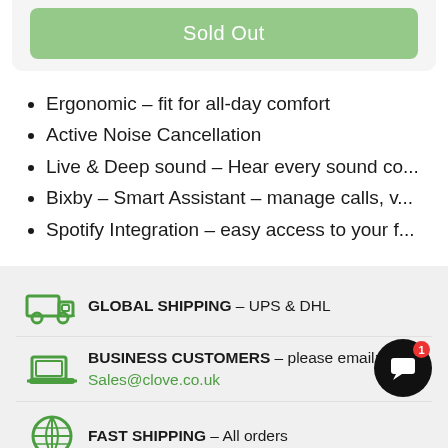Sold Out
Ergonomic – fit for all-day comfort
Active Noise Cancellation
Live & Deep sound – Hear every sound co...
Bixby – Smart Assistant – manage calls, v...
Spotify Integration – easy access to your f...
GLOBAL SHIPPING – UPS & DHL
BUSINESS CUSTOMERS – please email: Sales@clove.co.uk
FAST SHIPPING – All orders